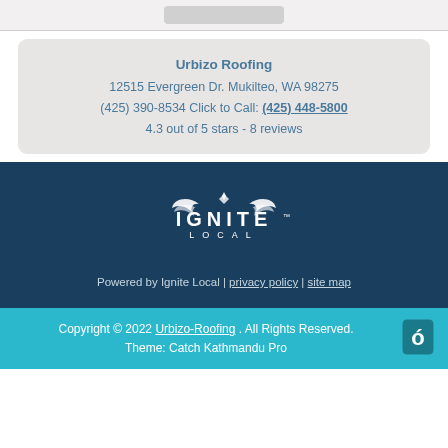Urbizo Roofing
12515 Evergreen Dr. Mukilteo, WA 98275
(425) 390-8534 Click to Call: (425) 448-5800
4.3 out of 5 stars - 8 reviews
[Figure (logo): Ignite Local logo with wings and text IGNITE LOCAL]
Powered by Ignite Local | privacy policy | site map
Copyright © 2022 Urbizo-Roofing . All Rights Reserved. Theme: Catch Kathmandu Pro